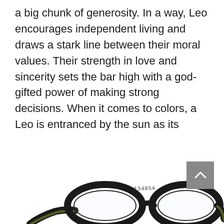a big chunk of generosity. In a way, Leo encourages independent living and draws a stark line between their moral values. Their strength in love and sincerity sets the bar high with a god-gifted power of making strong decisions. When it comes to colors, a Leo is entranced by the sun as its symbol and amusingly admires wearing mild-to-high orange hues. Explore the best glasses online for the Leo zodiac sign.
[Figure (photo): A pair of dark-framed (black/dark green) round eyeglasses photographed from above on a white background, with a handwritten-style watermark reading '134854'.]